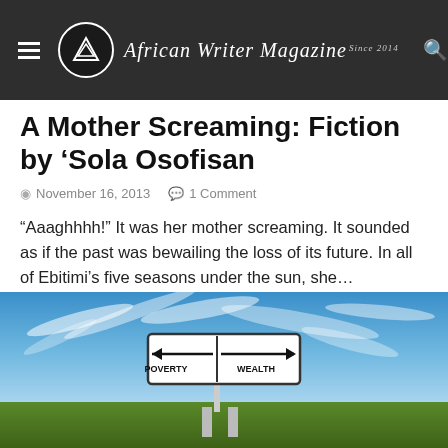African Writer Magazine
A Mother Screaming: Fiction by ‘Sola Osofisan
November 16, 2013   1 Comment
“Aaaghhhh!” It was her mother screaming. It sounded as if the past was bewailing the loss of its future. In all of Ebitimi’s five seasons under the sun, she…
[Figure (photo): A road sign with two arrows pointing left labeled POVERTY and right labeled WEALTH, set against a blue sky with wispy clouds and green grass below.]